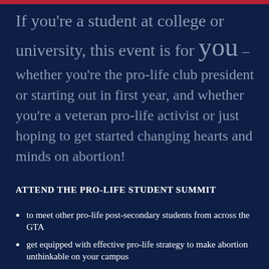If you're a student at college or university, this event is for you – whether you're the pro-life club president or starting out in first year, and whether you're a veteran pro-life activist or just hoping to get started changing hearts and minds on abortion!
ATTEND THE PRO-LIFE STUDENT SUMMIT
to meet other pro-life post-secondary students from across the GTA
get equipped with effective pro-life strategy to make abortion unthinkable on your campus